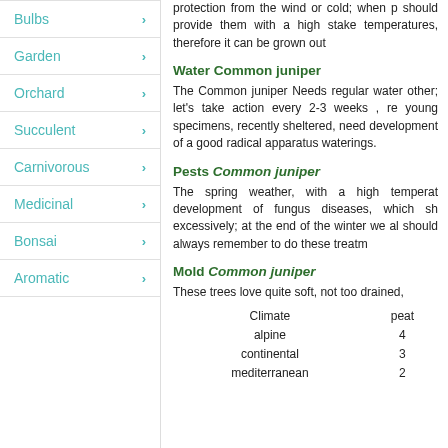Bulbs
Garden
Orchard
Succulent
Carnivorous
Medicinal
Bonsai
Aromatic
protection from the wind or cold; when p should provide them with a high stake temperatures, therefore it can be grown out
Water Common juniper
The Common juniper Needs regular water other; let's take action every 2-3 weeks , re young specimens, recently sheltered, need development of a good radical apparatus waterings.
Pests Common juniper
The spring weather, with a high temperat development of fungus diseases, which sh excessively; at the end of the winter we al should always remember to do these treatm
Mold Common juniper
These trees love quite soft, not too drained,
| Climate | peat |
| --- | --- |
| alpine | 4 |
| continental | 3 |
| mediterranean | 2 |